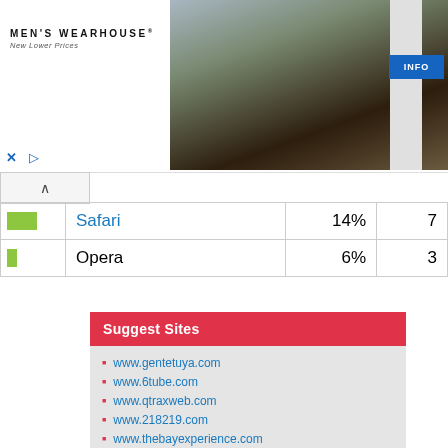[Figure (photo): Men's Wearhouse advertisement banner with couple in formal wear and man in suit, with INFO button]
| [bar] | Safari | 14% | 7 |
| [bar] | Opera | 6% | 3 |
Suggest Sites
www.gentetuya.com
www.6tube.com
www.qtraxweb.com
www.218219.com
www.thebayexperience.com
www.aprod.hu
www.levidia.ch